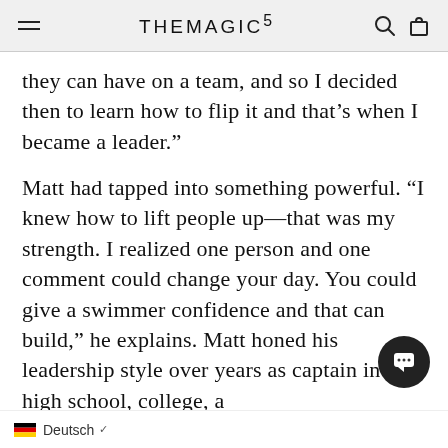THEMAGIC5
they can have on a team, and so I decided then to learn how to flip it and that’s when I became a leader.”
Matt had tapped into something powerful. “I knew how to lift people up—that was my strength. I realized one person and one comment could change your day. You could give a swimmer confidence and that can build,” he explains. Matt honed his leadership style over years as captain in high school, college, a… eventually for Team USA. Whether it
Deutsch